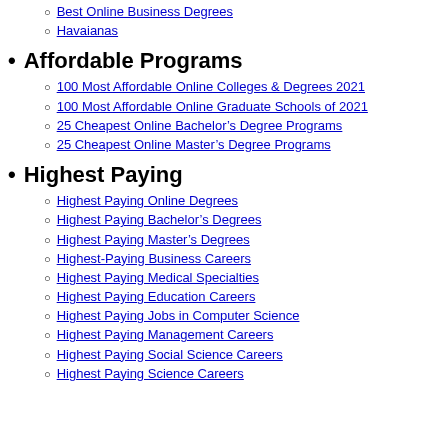Best Online Business Degrees
Havaianas
Affordable Programs
100 Most Affordable Online Colleges & Degrees 2021
100 Most Affordable Online Graduate Schools of 2021
25 Cheapest Online Bachelor’s Degree Programs
25 Cheapest Online Master’s Degree Programs
Highest Paying
Highest Paying Online Degrees
Highest Paying Bachelor’s Degrees
Highest Paying Master’s Degrees
Highest-Paying Business Careers
Highest Paying Medical Specialties
Highest Paying Education Careers
Highest Paying Jobs in Computer Science
Highest Paying Management Careers
Highest Paying Social Science Careers
Highest Paying Science Careers